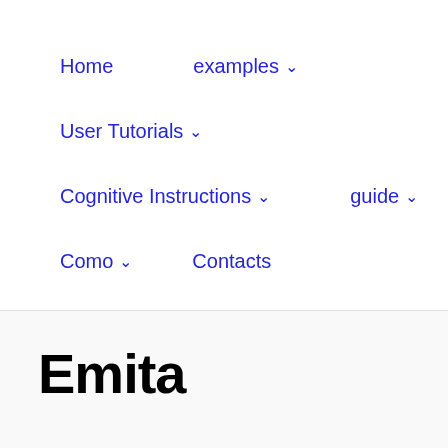Home   examples ˅   User Tutorials ˅   Cognitive Instructions ˅   guide ˅   Como ˅   Contacts
Emita